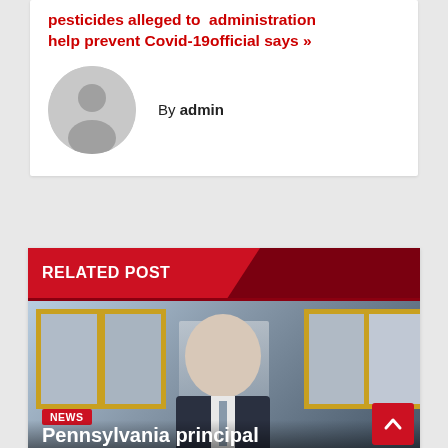pesticides alleged to administration help prevent Covid-19official says »
By admin
[Figure (photo): Default avatar/user placeholder icon — grey circle with a silhouette of a person]
RELATED POST
[Figure (photo): Photo of a smiling man in a suit standing in front of gold-framed photos on a wall]
NEWS
Pennsylvania principal